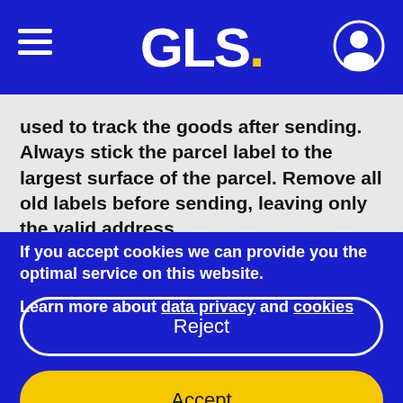[Figure (logo): GLS logo with yellow dot, hamburger menu icon on left, user account icon on right, on dark blue background]
used to track the goods after sending. Always stick the parcel label to the largest surface of the parcel. Remove all old labels before sending, leaving only the valid address.
If you accept cookies we can provide you the optimal service on this website.

Learn more about data privacy and cookies